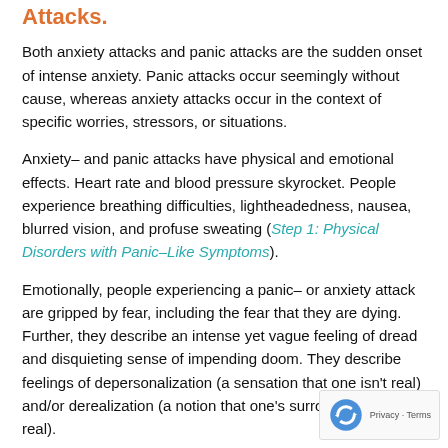Attacks.
Both anxiety attacks and panic attacks are the sudden onset of intense anxiety. Panic attacks occur seemingly without cause, whereas anxiety attacks occur in the context of specific worries, stressors, or situations.
Anxiety– and panic attacks have physical and emotional effects. Heart rate and blood pressure skyrocket. People experience breathing difficulties, lightheadedness, nausea, blurred vision, and profuse sweating (Step 1: Physical Disorders with Panic–Like Symptoms).
Emotionally, people experiencing a panic– or anxiety attack are gripped by fear, including the fear that they are dying. Further, they describe an intense yet vague feeling of dread and disquieting sense of impending doom. They describe feelings of depersonalization (a sensation that one isn't real) and/or derealization (a notion that one's surroundings aren't real).